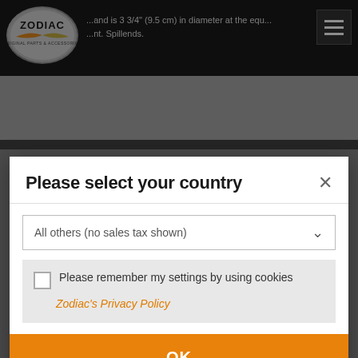[Figure (screenshot): Zodiac Original Parts & Accessories website navbar with logo and hamburger menu on dark background]
Please select your country
All others (no sales tax shown)
Please remember my settings by using cookies
Zodiac's Privacy Policy
OK
Recommended Retail Prices excluding sales tax.
Prices exclude shipping, import duties and installation.